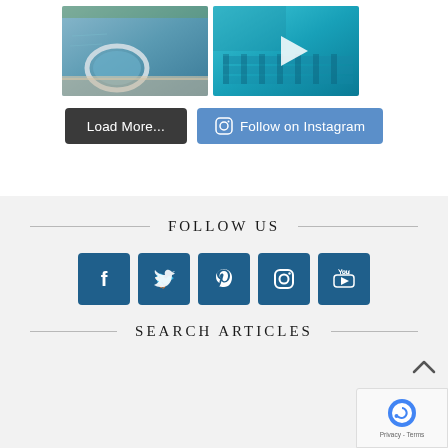[Figure (photo): Swimming pool with circular hot tub/spa area, blue water, stone surround]
[Figure (photo): Video thumbnail of pool steps/tanning ledge with teal water, play button overlay]
Load More...
Follow on Instagram
FOLLOW US
[Figure (infographic): Social media icons row: Facebook, Twitter, Pinterest, Instagram, YouTube — dark blue square buttons]
SEARCH ARTICLES